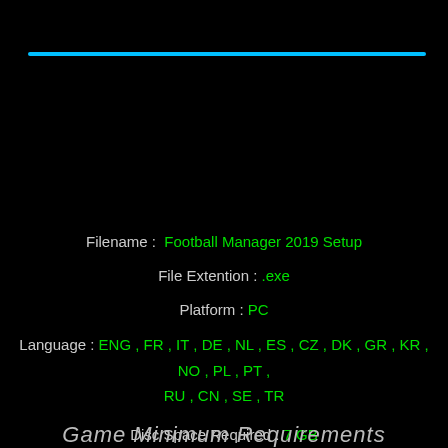[Figure (other): Horizontal cyan/light-blue decorative line near top of page]
Filename :  Football Manager 2019 Setup
File Extention : .exe
Platform : PC
Language : ENG , FR , IT , DE , NL , ES , CZ , DK , GR , KR , NO , PL , PT , RU , CN , SE , TR
Disc Space Required : 7 GB
Game Minimum Requirements